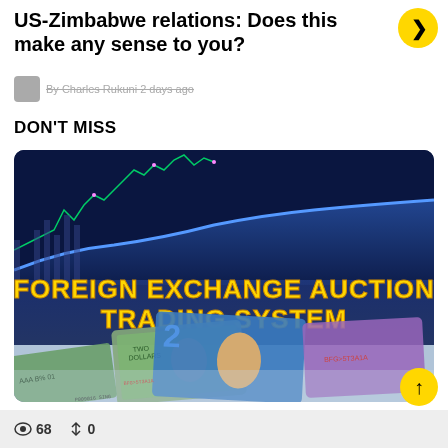US-Zimbabwe relations: Does this make any sense to you?
By Charles Rukuni 2 days ago
DON'T MISS
[Figure (photo): Banner image showing various foreign currency banknotes spread out with overlaid text reading FOREIGN EXCHANGE AUCTION TRADING SYSTEM in gold letters, against a blue financial chart background]
👁 68  ↑↓ 0